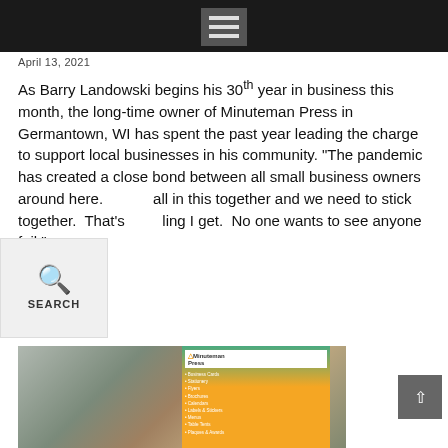Navigation header bar with hamburger menu
April 13, 2021
As Barry Landowski begins his 30th year in business this month, the long-time owner of Minuteman Press in Germantown, WI has spent the past year leading the charge to support local businesses in his community. “The pandemic has created a close bond between all small business owners around here. [We’re] all in this together and we need to stick together.  That’s [the feel]ing I get.  No one wants to see anyone fail.”
[Figure (screenshot): Search overlay button with magnifying glass icon and SEARCH label]
[Figure (photo): Group photo of four men standing in front of a Minuteman Press banner displaying services including Business Cards, Stationery, Flyers, Brochures, Calendars, Labels & Stickers, Menus, Table Tents, Plaques & Awards. A BUSINESS badge is overlaid in the top left.]